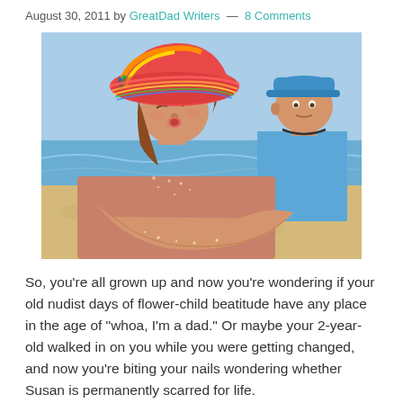August 30, 2011 by GreatDad Writers — 8 Comments
[Figure (photo): Two children at a beach: a girl in a colorful wide-brimmed hat blowing sand from her cupped hands, and a boy in a blue cap and shirt in the background.]
So, you're all grown up and now you're wondering if your old nudist days of flower-child beatitude have any place in the age of "whoa, I'm a dad." Or maybe your 2-year-old walked in on you while you were getting changed, and now you're biting your nails wondering whether Susan is permanently scarred for life.